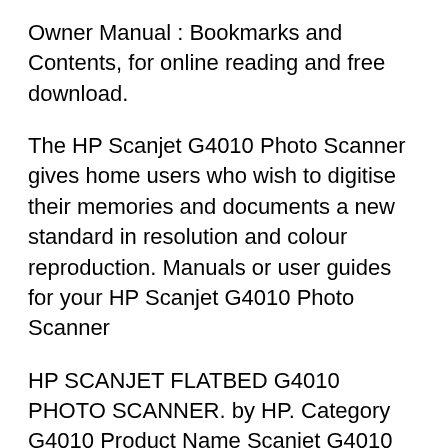Owner Manual : Bookmarks and Contents, for online reading and free download.
The HP Scanjet G4010 Photo Scanner gives home users who wish to digitise their memories and documents a new standard in resolution and colour reproduction. Manuals or user guides for your HP Scanjet G4010 Photo Scanner
HP SCANJET FLATBED G4010 PHOTO SCANNER. by HP. Category G4010 Product Name Scanjet G4010 Photo Scanner Product Type Hello , i just bought a new desktop but they didn't succeed to install the driver and I can't find it. I am looking voor do driver for